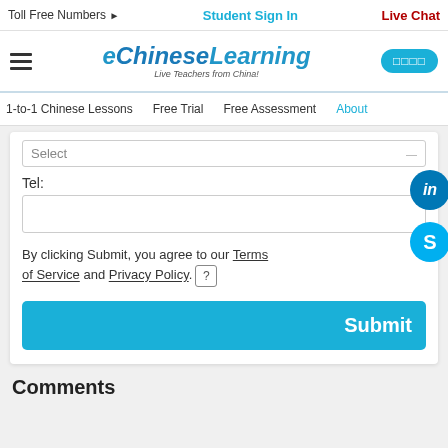Toll Free Numbers ▶   Student Sign In   Live Chat
[Figure (logo): eChineseLearning logo with tagline 'Live Teachers from China!']
1-to-1 Chinese Lessons   Free Trial   Free Assessment   About
Select
Tel:
By clicking Submit, you agree to our Terms of Service and Privacy Policy. [?]
Submit
Comments